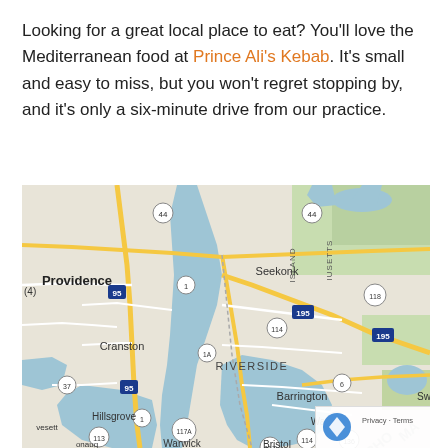Looking for a great local place to eat? You'll love the Mediterranean food at Prince Ali's Kebab. It's small and easy to miss, but you won't regret stopping by, and it's only a six-minute drive from our practice.
[Figure (map): Google Maps screenshot showing the Providence, Rhode Island area including neighborhoods: Cranston, Riverside, Seekonk, Barrington, Warren, Hillsgrove, Warwick, and nearby areas. Major roads visible include I-95, I-195, Route 1, Route 44, Route 114, Route 6, Route 103, Route 136, Route 117, Route 118, Route 113, Route 37, Route 1A, Route 117A. Water bodies (Narragansett Bay tributaries) visible in blue.]